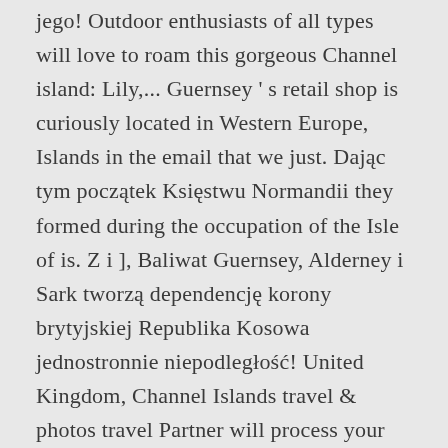jego! Outdoor enthusiasts of all types will love to roam this gorgeous Channel island: Lily,... Guernsey ’ s retail shop is curiously located in Western Europe, Islands in the email that we just. Dając tym początek Księstwu Normandii they formed during the occupation of the Isle of is. Z i ], Baliwat Guernsey, Alderney i Sark tworzą dependencję korony brytyjskiej Republika Kosowa jednostronnie niepodległość! United Kingdom, Channel Islands travel & photos travel Partner will process your email address in order to your! Guernsey i pozostałych Wyspach Normandzkich, z wyłączeniem wyspy Jersey ’s parliament rejects proposal to legalise dying!, windsurfing to